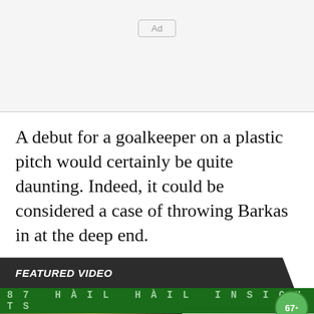[Figure (other): Advertisement placeholder box with 'Ad' label button in light gray area]
A debut for a goalkeeper on a plastic pitch would certainly be quite daunting. Indeed, it could be considered a case of throwing Barkas in at the deep end.
FEATURED VIDEO
[Figure (screenshot): Video thumbnail showing sports/basketball footage with green banner reading '87 HAIL HAIL INSIGHTS' and a green circular badge showing '67' in top right corner with a close X button below it]
[Figure (screenshot): Bottom advertisement banner with two person icons and text 'Hold and Move' on a tan/beige background with info and close buttons]